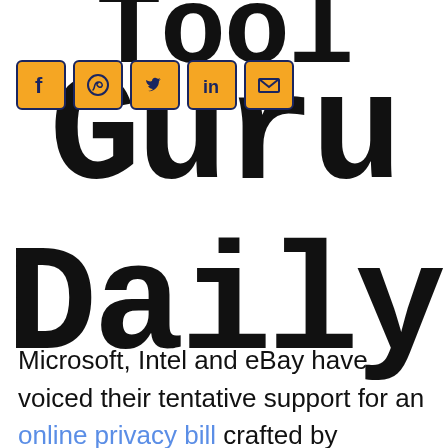Tool Guru Daily
[Figure (infographic): Social media sharing icons: Facebook, WhatsApp, Twitter, LinkedIn, Email — orange background with dark blue border]
Microsoft, Intel and eBay have voiced their tentative support for an online privacy bill crafted by Congressman Bobby L. Rush.